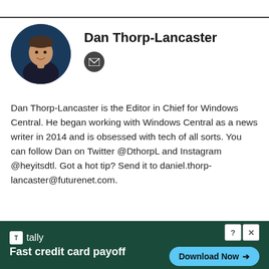[Figure (photo): Circular profile photo of Dan Thorp-Lancaster, a man with short hair wearing a dark shirt, arms crossed, against a dark blue background]
Dan Thorp-Lancaster
Dan Thorp-Lancaster is the Editor in Chief for Windows Central. He began working with Windows Central as a news writer in 2014 and is obsessed with tech of all sorts. You can follow Dan on Twitter @DthorpL and Instagram @heyitsdtl. Got a hot tip? Send it to daniel.thorp-lancaster@futurenet.com.
[Figure (infographic): Advertisement banner for Tally app - Fast credit card payoff, with Download Now button]